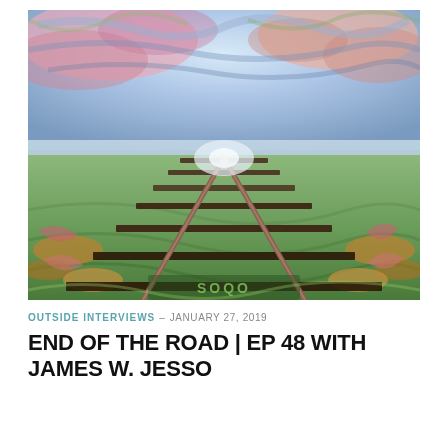[Figure (illustration): Digitally painted / neural-style-transfer image of railroad tracks receding toward the horizon under a colorful psychedelic sky. Warm pinks, blues, greens, and oranges in an impressionistic swirling style.]
OUTSIDE INTERVIEWS – JANUARY 27, 2019
END OF THE ROAD | EP 48 WITH JAMES W. JESSO